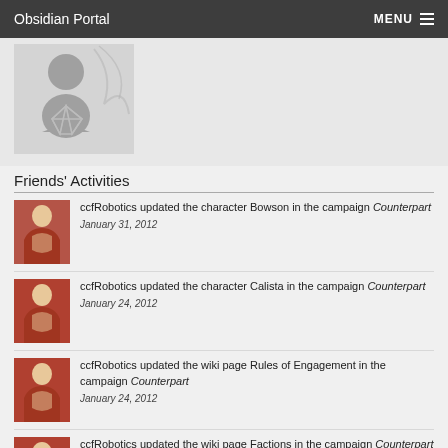Obsidian Portal  MENU
[Figure (illustration): Avatar/profile placeholder image with silhouette figure and geometric icosahedron motif on light gray background]
Friends' Activities
ccfRobotics updated the character Bowson in the campaign Counterpart
January 31, 2012
ccfRobotics updated the character Calista in the campaign Counterpart
January 24, 2012
ccfRobotics updated the wiki page Rules of Engagement in the campaign Counterpart
January 24, 2012
ccfRobotics updated the wiki page Factions in the campaign Counterpart
January 24, 2012